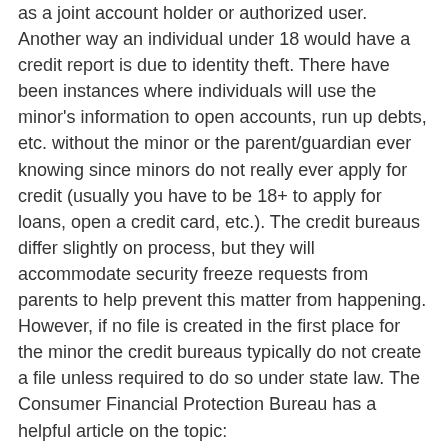as a joint account holder or authorized user. Another way an individual under 18 would have a credit report is due to identity theft. There have been instances where individuals will use the minor's information to open accounts, run up debts, etc. without the minor or the parent/guardian ever knowing since minors do not really ever apply for credit (usually you have to be 18+ to apply for loans, open a credit card, etc.). The credit bureaus differ slightly on process, but they will accommodate security freeze requests from parents to help prevent this matter from happening. However, if no file is created in the first place for the minor the credit bureaus typically do not create a file unless required to do so under state law. The Consumer Financial Protection Bureau has a helpful article on the topic: https://www.consumerfinance.gov/askcfpb/1271/should-i-request-credit-reports-my-children.html.
Consent
In order to process a background check on a minor, a copy of the applicant's authorization also signed by the minor's parent or guardian must be provided, as minors are not